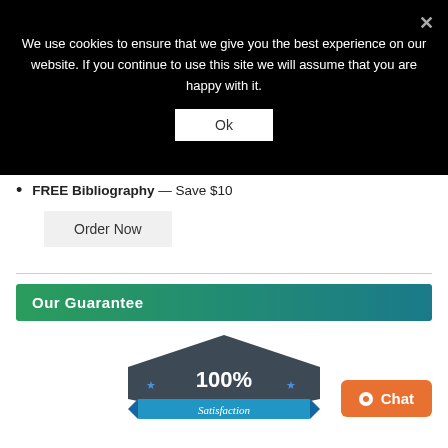We use cookies to ensure that we give you the best experience on our website. If you continue to use this site we will assume that you are happy with it.
Ok
FREE Bibliography — Save $10
Order Now
Our Guarantee
[Figure (illustration): 100% Satisfaction guarantee badge, pentagon shield shape in dark grey with blue star accents, blue ribbon at bottom with 'Satisfaction' text in white italic]
Chat